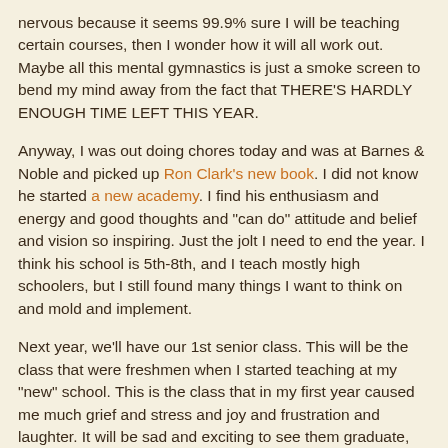nervous because it seems 99.9% sure I will be teaching certain courses, then I wonder how it will all work out. Maybe all this mental gymnastics is just a smoke screen to bend my mind away from the fact that THERE'S HARDLY ENOUGH TIME LEFT THIS YEAR.
Anyway, I was out doing chores today and was at Barnes & Noble and picked up Ron Clark's new book. I did not know he started a new academy. I find his enthusiasm and energy and good thoughts and "can do" attitude and belief and vision so inspiring. Just the jolt I need to end the year. I think his school is 5th-8th, and I teach mostly high schoolers, but I still found many things I want to think on and mold and implement.
Next year, we'll have our 1st senior class. This will be the class that were freshmen when I started teaching at my "new" school. This is the class that in my first year caused me much grief and stress and joy and frustration and laughter. It will be sad and exciting to see them graduate, and it will feel like a different school without them in 2 years.